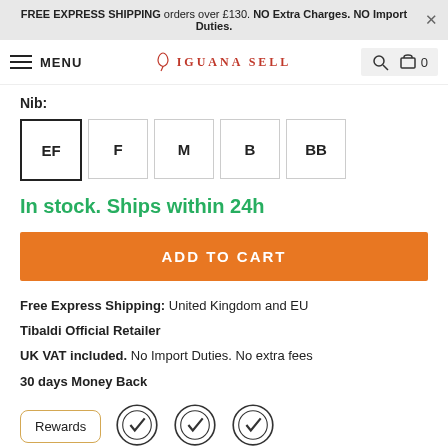FREE EXPRESS SHIPPING orders over £130. NO Extra Charges. NO Import Duties.
MENU | IGUANA SELL | search | cart 0
Nib:
EF
F
M
B
BB
In stock. Ships within 24h
ADD TO CART
Free Express Shipping: United Kingdom and EU
Tibaldi Official Retailer
UK VAT included. No Import Duties. No extra fees
30 days Money Back
Rewards